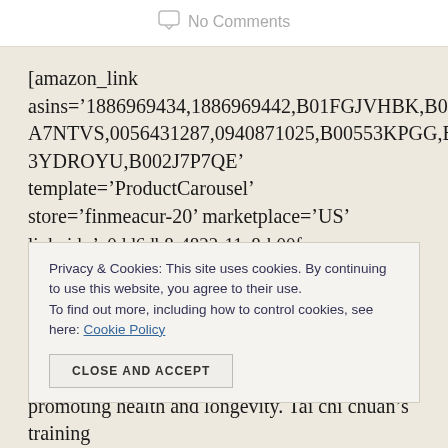No Comments
[amazon_link asins='1886969434,1886969442,B01FGJVHBK,B002A7NTVS,0056431287,0940871025,B00553KPGG,B003YDROYU,B002J7P7QE' template='ProductCarousel' store='finmeacur-20' marketplace='US' link_id='e0dd6db8-4822-11e8-b00f-0f25fa8ed66a']
Privacy & Cookies: This site uses cookies. By continuing to use this website, you agree to their use. To find out more, including how to control cookies, see here: Cookie Policy
CLOSE AND ACCEPT
promoting health and longevity. Tai chi chuan’s training